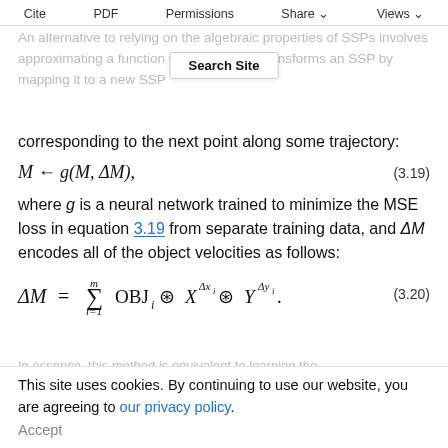Cite  PDF  Permissions  Share  Views
An alternative to relying on the algebraic properties of SSPs involves approximating a function that repeatedly transforms an SSP by mapping it to a new SSP corresponding to the next point along some trajectory:
where g is a neural network trained to minimize the MSE loss in equation 3.19 from separate training data, and ΔM encodes all of the object velocities as follows:
In essence, this method is equivalent to learning the
This site uses cookies. By continuing to use our website, you are agreeing to our privacy policy.
Accept
trajectories using a linear model for g (e.g.,